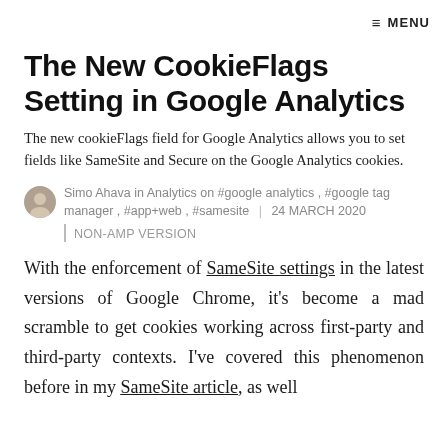≡ MENU
The New CookieFlags Setting in Google Analytics
The new cookieFlags field for Google Analytics allows you to set fields like SameSite and Secure on the Google Analytics cookies.
Simo Ahava in Analytics on #google analytics , #google tag manager , #app+web , #samesite | 24 MARCH 2020
NON-AMP VERSION
With the enforcement of SameSite settings in the latest versions of Google Chrome, it's become a mad scramble to get cookies working across first-party and third-party contexts. I've covered this phenomenon before in my SameSite article, as well